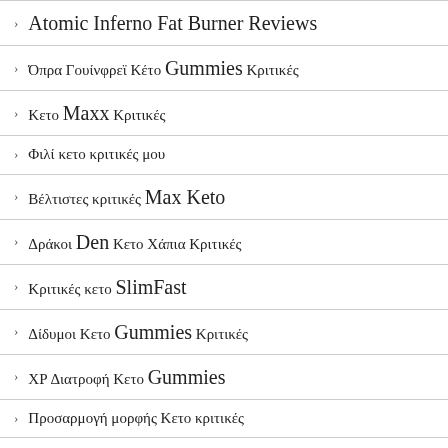Atomic Inferno Fat Burner Reviews
Όπρα Γουίνφρεϊ Κέτο Gummies Κριτικές
Κετο Maxx Κριτικές
Φιλί κετο κριτικές μου
Βέλτιστες κριτικές Max Keto
Δράκοι Den Κετο Χάπια Κριτικές
Κριτικές κετο SlimFast
Δίδυμοι Κετο Gummies Κριτικές
ΧΡ Διατροφή Κετο Gummies
Προσαρμογή μορφής Κετο κριτικές
Κετο Έκρηξη Gummies Κριτικές
Βιολογικές τελειώματα Κετο Gummies Κριτικές
Κριτικές χρέωσης κετο